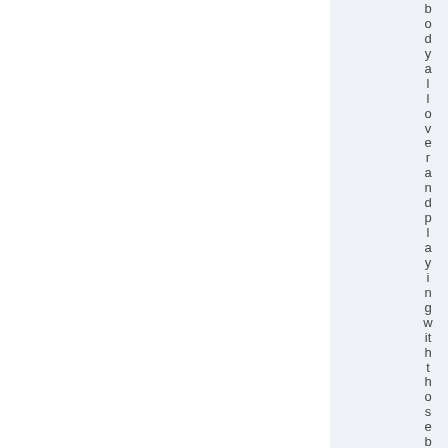body allow over and playing with those bo